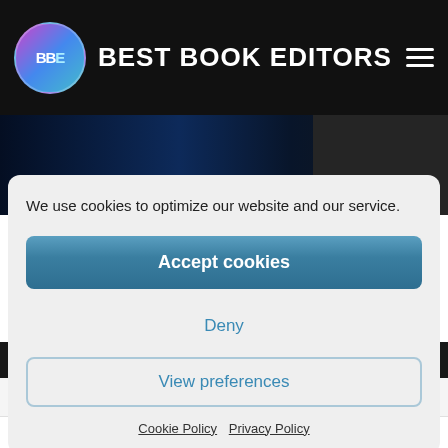BEST BOOK EDITORS
We use cookies to optimize our website and our service.
Accept cookies
Deny
View preferences
Cookie Policy  Privacy Policy
Home » Blog »
BLOG: BBE Blog  11 June 2022 Office Banter